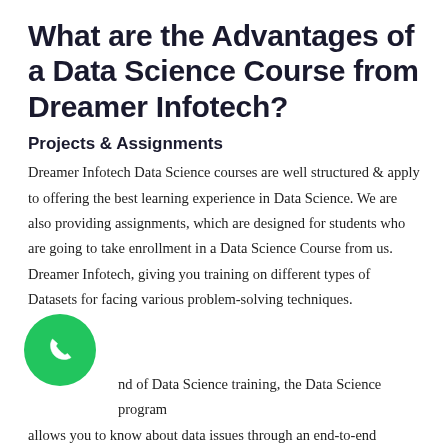What are the Advantages of a Data Science Course from Dreamer Infotech?
Projects & Assignments
Dreamer Infotech Data Science courses are well structured & apply to offering the best learning experience in Data Science. We are also providing assignments, which are designed for students who are going to take enrollment in a Data Science Course from us. Dreamer Infotech, giving you training on different types of Datasets for facing various problem-solving techniques.
[Figure (illustration): Green circular phone/call button icon]
nd of Data Science training, the Data Science program allows you to know about data issues through an end-to-end